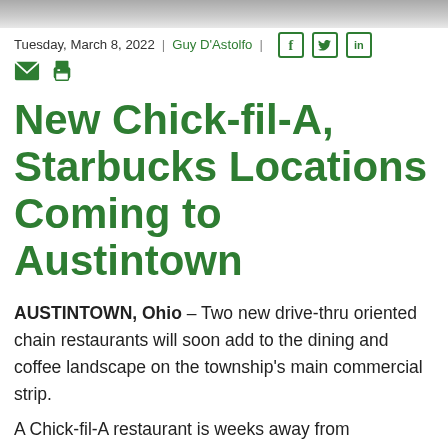[Figure (photo): Gray banner image at top of article page]
Tuesday, March 8, 2022 | Guy D'Astolfo | [Facebook] [Twitter] [LinkedIn] [Email] [Print]
New Chick-fil-A, Starbucks Locations Coming to Austintown
AUSTINTOWN, Ohio – Two new drive-thru oriented chain restaurants will soon add to the dining and coffee landscape on the township's main commercial strip.
A Chick-fil-A restaurant is weeks away from